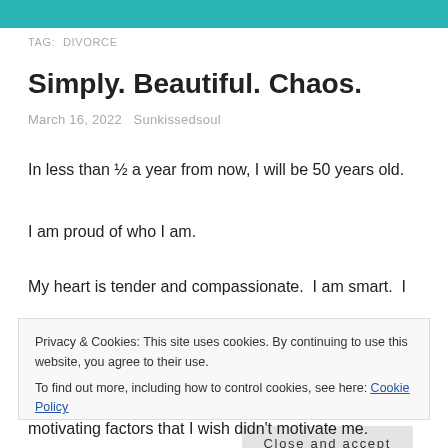TAG:  DIVORCE
Simply. Beautiful. Chaos.
March 16, 2022   Sunkissedsoul
In less than ½ a year from now, I will be 50 years old.
I am proud of who I am.
My heart is tender and compassionate.  I am smart.  I
Privacy & Cookies: This site uses cookies. By continuing to use this website, you agree to their use.
To find out more, including how to control cookies, see here: Cookie Policy
Close and accept
motivating factors that I wish didn't motivate me.